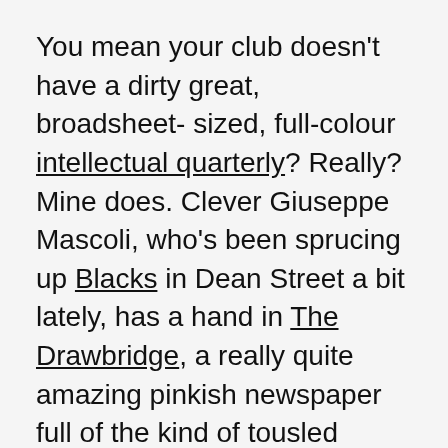You mean your club doesn't have a dirty great, broadsheet- sized, full-colour intellectual quarterly? Really? Mine does. Clever Giuseppe Mascoli, who's been sprucing up Blacks in Dean Street a bit lately, has a hand in The Drawbridge, a really quite amazing pinkish newspaper full of the kind of tousled sociopaths you used to see only in The New Left Review.
A roster that includes cheeky Slavoj Žižek, cuddly John Berger, prickly Noam Chomsky and bloody Gerry Adams (plus loads of other lefties, situationists and topers you've heard